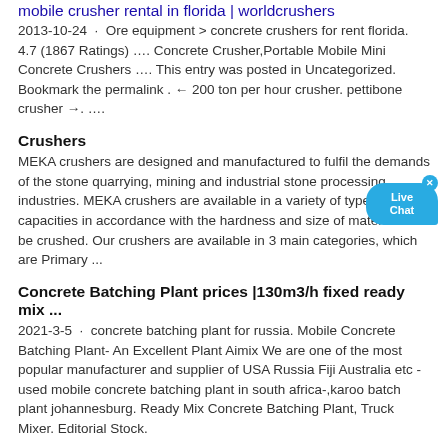mobile crusher rental in florida | worldcrushers
2013-10-24 · Ore equipment > concrete crushers for rent florida. 4.7 (1867 Ratings) …. Concrete Crusher,Portable Mobile Mini Concrete Crushers …. This entry was posted in Uncategorized. Bookmark the permalink . ← 200 ton per hour crusher. pettibone crusher →. ….
Crushers
MEKA crushers are designed and manufactured to fulfil the demands of the stone quarrying, mining and industrial stone processing industries. MEKA crushers are available in a variety of types and capacities in accordance with the hardness and size of materials to be crushed. Our crushers are available in 3 main categories, which are Primary ...
Concrete Batching Plant prices |130m3/h fixed ready mix ...
2021-3-5 · concrete batching plant for russia. Mobile Concrete Batching Plant- An Excellent Plant Aimix We are one of the most popular manufacturer and supplier of USA Russia Fiji Australia etc -used mobile concrete batching plant in south africa-,karoo batch plant johannesburg. Ready Mix Concrete Batching Plant, Truck Mixer. Editorial Stock.
Mobile Concrete Batching Plant For Sale
Characteristics of different types of mobile cement plant. The